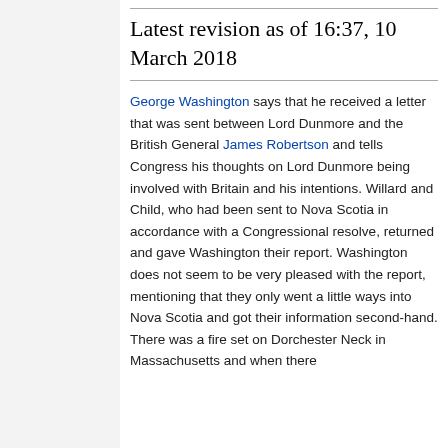Latest revision as of 16:37, 10 March 2018
George Washington says that he received a letter that was sent between Lord Dunmore and the British General James Robertson and tells Congress his thoughts on Lord Dunmore being involved with Britain and his intentions. Willard and Child, who had been sent to Nova Scotia in accordance with a Congressional resolve, returned and gave Washington their report. Washington does not seem to be very pleased with the report, mentioning that they only went a little ways into Nova Scotia and got their information second-hand. There was a fire set on Dorchester Neck in Massachusetts and when there